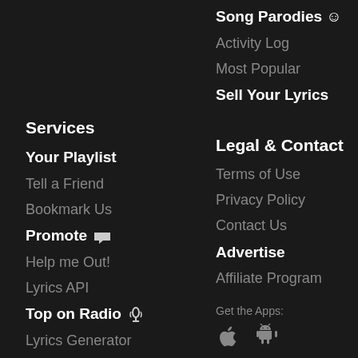Song Parodies 😊
Activity Log
Most Popular
Sell Your Lyrics
Services
Legal & Contact
Your Playlist
Terms of Use
Tell a Friend
Privacy Policy
Bookmark Us
Contact Us
Promote 📢
Advertise
Help me Out!
Affiliate Program
Lyrics API
Get the Apps:
Top on Radio 🎙
Lyrics Generator
The Lyrics Quiz